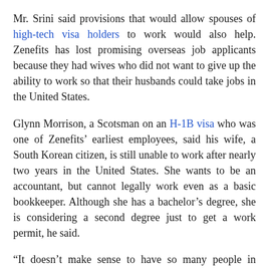Mr. Srini said provisions that would allow spouses of high-tech visa holders to work would also help. Zenefits has lost promising overseas job applicants because they had wives who did not want to give up the ability to work so that their husbands could take jobs in the United States.
Glynn Morrison, a Scotsman on an H-1B visa who was one of Zenefits' earliest employees, said his wife, a South Korean citizen, is still unable to work after nearly two years in the United States. She wants to be an accountant, but cannot legally work even as a basic bookkeeper. Although she has a bachelor's degree, she is considering a second degree just to get a work permit, he said.
“It doesn’t make sense to have so many people in America not working,” Mr. Morrison said. “You want them to pay taxes.”